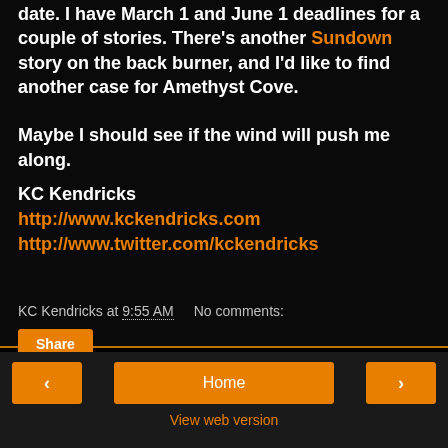date. I have March 1 and June 1 deadlines for a couple of stories. There's another Sundown story on the back burner, and I'd like to find another case for Amethyst Cove.

Maybe I should see if the wind will push me along.
KC Kendricks
http://www.kckendricks.com
http://www.twitter.com/kckendricks
KC Kendricks at 9:55 AM   No comments:
Share
< Home > View web version